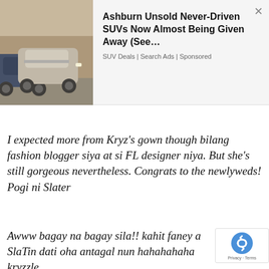[Figure (photo): Advertisement showing unsold SUVs parked in a warehouse/garage setting]
Ashburn Unsold Never-Driven SUVs Now Almost Being Given Away (See…
SUV Deals | Search Ads | Sponsored
I expected more from Kryz's gown though bilang fashion blogger siya at si FL designer niya. But she's still gorgeous nevertheless. Congrats to the newlyweds! Pogi ni Slater
Awww bagay na bagay sila!! kahit faney a SlaTin dati oha antagal nun hahahahaha kryzzle